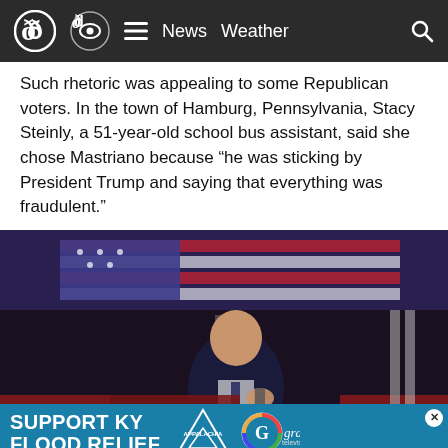News  Weather
Such rhetoric was appealing to some Republican voters. In the town of Hamburg, Pennsylvania, Stacy Steinly, a 51-year-old school bus assistant, said she chose Mastriano because “he was sticking by President Trump and saying that everything was fraudulent.”
[Figure (photo): A man in a dark suit speaking at a podium with a microphone in front of a red, white, and blue banner background. Text on banner reads partially visible letters 'G PA CK'. Crowd visible in foreground with someone holding up a phone.]
SUPPORT KY FLOOD RELIEF
Donald  surging